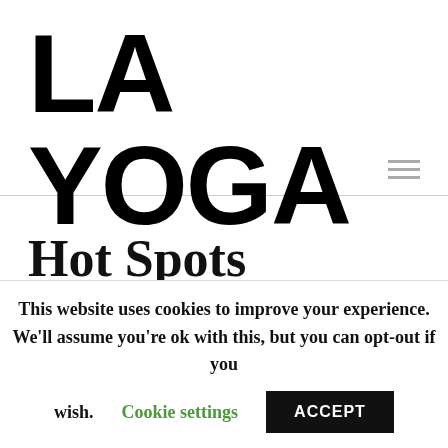LA YOGA
Hot Spots
This website uses cookies to improve your experience. We'll assume you're ok with this, but you can opt-out if you wish. Cookie settings ACCEPT